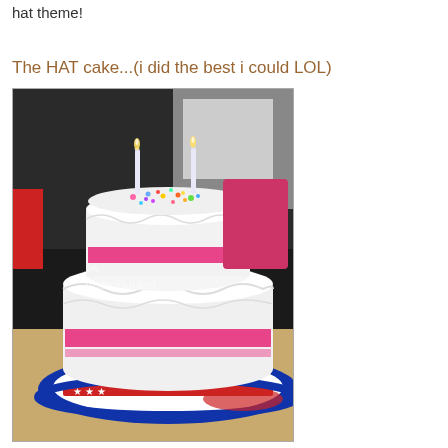hat theme!
The HAT cake...(i did the best i could LOL)
[Figure (photo): A two-tiered white frosted cake with pink ribbon decoration and colorful sprinkles on top, two white candles, sitting on a patriotic red-white-blue star-patterned plate on a wooden countertop. Photobucket watermark visible.]